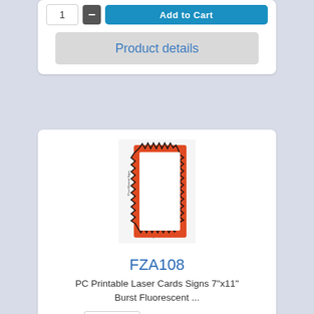[Figure (screenshot): Top partial product card showing Add to Cart button and Product details button]
Product details
[Figure (photo): Product image: orange burst/starburst fluorescent card sign 7x11 inches, white interior]
FZA108
PC Printable Laser Cards Signs 7"x11" Burst Fluorescent ...
Sales price: $32.95
Category Discounts:
5 to 9: $31.30
10+: $29.65
Add to Cart